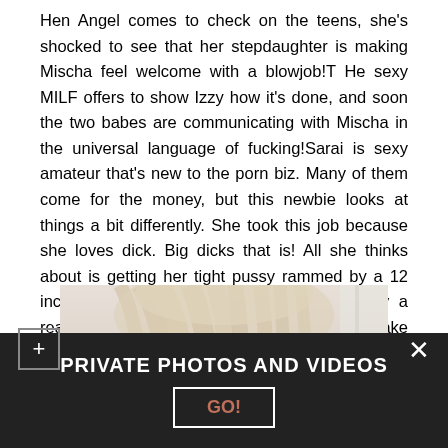Hen Angel comes to check on the teens, she's shocked to see that her stepdaughter is making Mischa feel welcome with a blowjob!T He sexy MILF offers to show Izzy how it's done, and soon the two babes are communicating with Mischa in the universal language of fucking!Sarai is sexy amateur that's new to the porn biz. Many of them come for the money, but this newbie looks at things a bit differently. She took this job because she loves dick. Big dicks that is! All she thinks about is getting her tight pussy rammed by a 12 inch dick. We're going to make that fantasy a reality. Come and watch this petite brunette take on a big dick. Enjoy!
[Figure (photo): Close-up photo of a person's blonde hair, top of head visible against a light background.]
PRIVATE PHOTOS AND VIDEOS
GO!